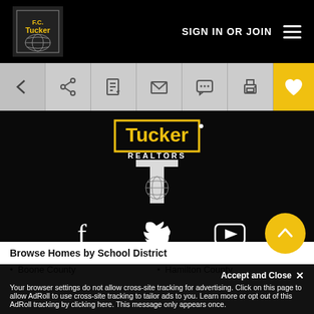SIGN IN OR JOIN
[Figure (logo): F.C. Tucker Realtors logo - yellow and black with globe]
[Figure (screenshot): Toolbar with back arrow, share, document, email, chat, print, and favorite (heart) buttons]
[Figure (logo): Tucker Realtors large logo with globe on dark background]
[Figure (infographic): Social media icons: Facebook, Twitter, YouTube on dark background]
Browse Homes by School District
Boone County
Hamilton County
Your browser settings do not allow cross-site tracking for advertising. Click on this page to allow AdRoll to use cross-site tracking to tailor ads to you. Learn more or opt out of this AdRoll tracking by clicking here. This message only appears once.